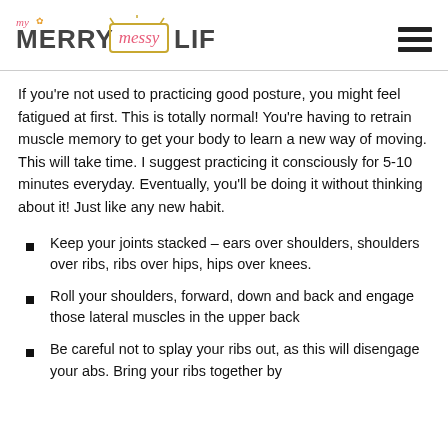My Merry Messy Life
If you're not used to practicing good posture, you might feel fatigued at first. This is totally normal! You're having to retrain muscle memory to get your body to learn a new way of moving. This will take time. I suggest practicing it consciously for 5-10 minutes everyday. Eventually, you'll be doing it without thinking about it! Just like any new habit.
Keep your joints stacked – ears over shoulders, shoulders over ribs, ribs over hips, hips over knees.
Roll your shoulders, forward, down and back and engage those lateral muscles in the upper back
Be careful not to splay your ribs out, as this will disengage your abs. Bring your ribs together by